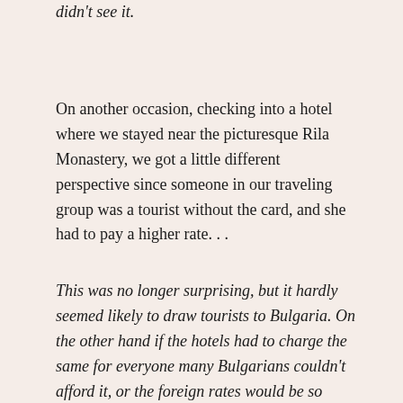didn't see it.
On another occasion, checking into a hotel where we stayed near the picturesque Rila Monastery, we got a little different perspective since someone in our traveling group was a tourist without the card, and she had to pay a higher rate. . .
This was no longer surprising, but it hardly seemed likely to draw tourists to Bulgaria. On the other hand if the hotels had to charge the same for everyone many Bulgarians couldn't afford it, or the foreign rates would be so cheap it would be ridiculous, or beneath notice, to most travelers. They wouldn't really care about the savings since the hotel bill was not a major part of the cost of a big vacation. It would seem to be easy to get huffy about that as a foreigner, but really. . . the Bulgarians were right. It wouldn't matter because